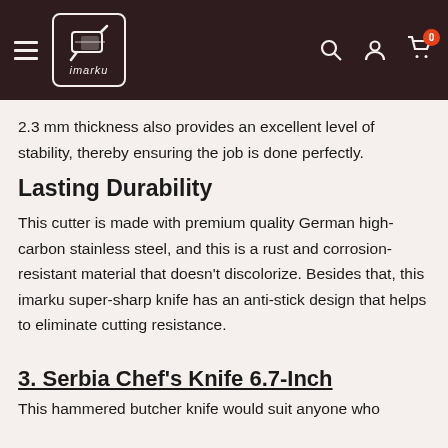imarku — navigation header
2.3 mm thickness also provides an excellent level of stability, thereby ensuring the job is done perfectly.
Lasting Durability
This cutter is made with premium quality German high-carbon stainless steel, and this is a rust and corrosion-resistant material that doesn't discolorize. Besides that, this imarku super-sharp knife has an anti-stick design that helps to eliminate cutting resistance.
3. Serbia Chef's Knife 6.7-Inch
This hammered butcher knife would suit anyone who